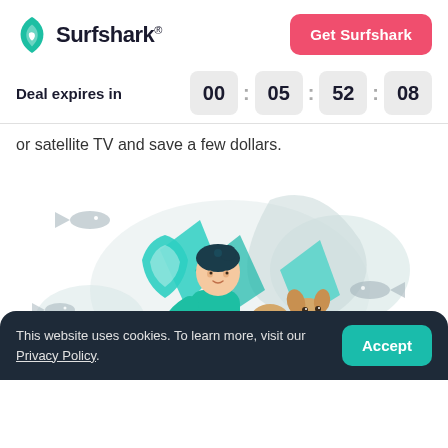[Figure (logo): Surfshark logo with teal shield icon and brand name]
Get Surfshark
Deal expires in  00 : 05 : 52 : 08
or satellite TV and save a few dollars.
[Figure (illustration): Illustration of a person in teal outfit sitting with a dog, surrounded by fish and teal geometric shapes on a light background]
This website uses cookies. To learn more, visit our Privacy Policy.